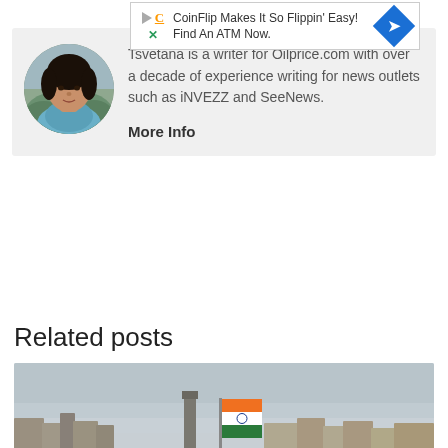[Figure (other): Advertisement banner: CoinFlip Makes It So Flippin' Easy! Find An ATM Now. with play icon, C icon, X icon, and blue diamond arrow icon]
[Figure (photo): Author photo of Tsvetana, a woman with dark hair, circular cropped, on grey background]
Tsvetana is a writer for Oilprice.com with over a decade of experience writing for news outlets such as iNVEZZ and SeeNews.
More Info
Related posts
[Figure (photo): Aerial cityscape photo of an Indian city (likely New Delhi/Delhi) showing a large Indian national flag (tricolor: saffron, white, green) on a tall pole in the center, with urban buildings, trees, and infrastructure spread across the landscape under an overcast sky.]